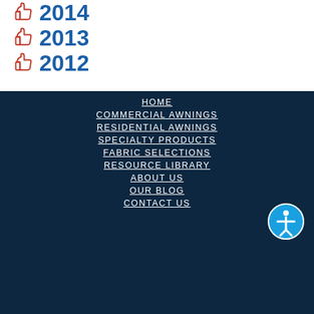2014
2013
2012
HOME
COMMERCIAL AWNINGS
RESIDENTIAL AWNINGS
SPECIALTY PRODUCTS
FABRIC SELECTIONS
RESOURCE LIBRARY
ABOUT US
OUR BLOG
CONTACT US